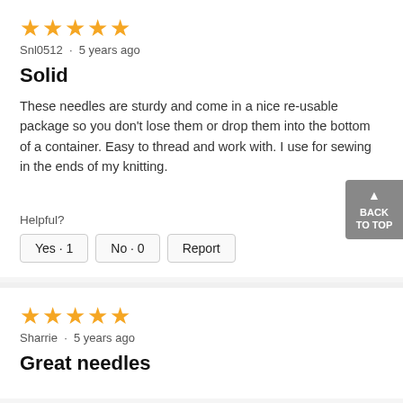[Figure (other): 5 gold stars rating]
Snl0512 · 5 years ago
Solid
These needles are sturdy and come in a nice re-usable package so you don't lose them or drop them into the bottom of a container. Easy to thread and work with. I use for sewing in the ends of my knitting.
Helpful?
Yes · 1   No · 0   Report
[Figure (other): 5 gold stars rating]
Sharrie · 5 years ago
Great needles